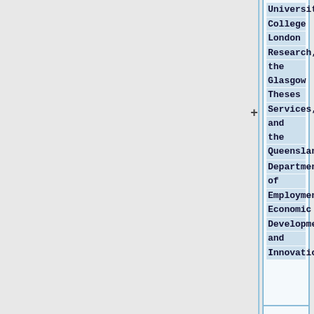University College London Research, the Glasgow Theses Services, and the Queensland Department of Employment, Economic Development and Innovation.
= User
= User